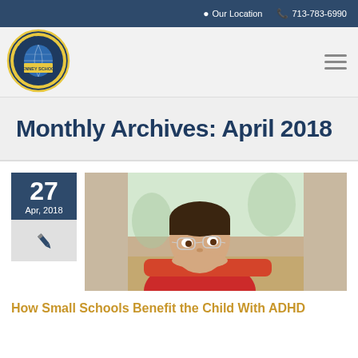Our Location  713-783-6990
[Figure (logo): Tenney School circular logo with globe, text: ONE STUDENT, ONE TEACHER, TENNEY SCHOOL]
Monthly Archives: April 2018
27 Apr, 2018
[Figure (photo): A young boy wearing glasses and a red shirt, resting his head on his arms on a desk, looking sideways.]
How Small Schools Benefit the Child With ADHD